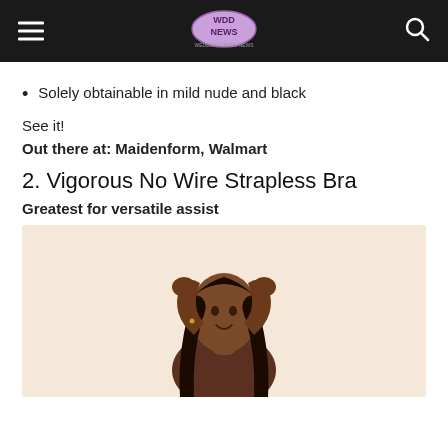WDD NEWS
Solely obtainable in mild nude and black
See it!
Out there at: Maidenform, Walmart
2. Vigorous No Wire Strapless Bra
Greatest for versatile assist
[Figure (photo): A woman with long dark hair posing with hands in her hair, wearing a strapless bra, against a light beige background]